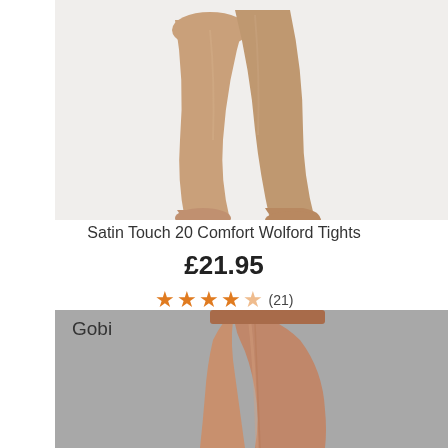[Figure (photo): Close-up photo of legs wearing nude/skin-tone sheer tights on white background, showing feet and lower legs in a crossed/angled pose]
Satin Touch 20 Comfort Wolford Tights
£21.95
★★★★★(21)
[Figure (photo): Photo of lower torso and upper legs wearing shiny caramel/tan colored tights on grey background, with 'Gobi' color label in top left]